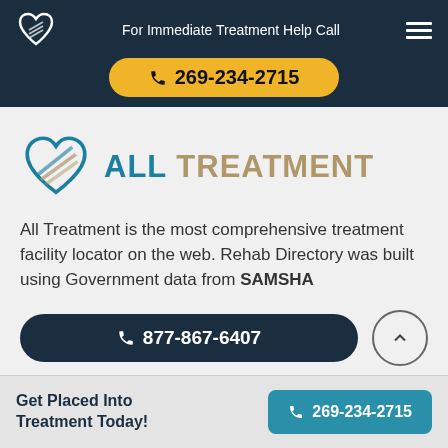For Immediate Treatment Help Call
269-234-2715
[Figure (logo): All Treatment heart logo with diagonal lines in teal and tan colors, with text ALL TREATMENT]
All Treatment is the most comprehensive treatment facility locator on the web. Rehab Directory was built using Government data from SAMSHA
877-867-6407
Get Placed Into Treatment Today!
269-234-2715